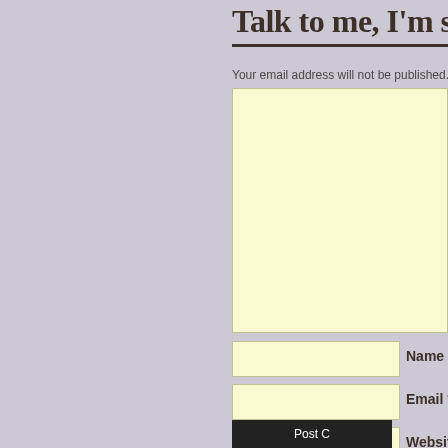Talk to me, I'm soooo lonely ...
Your email address will not be published. Required field
[Figure (other): Large light-yellow comment textarea input box]
Name *
[Figure (other): Name input field (light yellow)]
Email *
[Figure (other): Email input field (light yellow)]
Website
[Figure (other): Website input field (light yellow)]
[Figure (other): Post Comment submit button (dark background)]